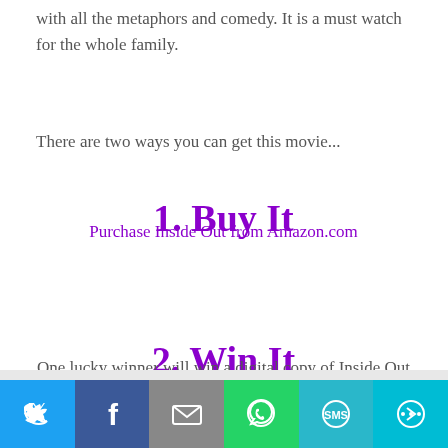with all the metaphors and comedy. It is a must watch for the whole family.
There are two ways you can get this movie...
1. Buy It
Purchase Inside Out from Amazon.com
2. Win It
One lucky winner will win a digital copy of Inside Out
We use cookies to optimize our website and our service.
Accept